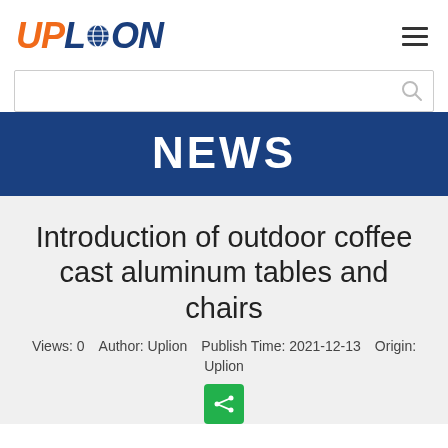UPLION — Navigation header with logo and hamburger menu
Search bar
NEWS
Introduction of outdoor coffee cast aluminum tables and chairs
Views: 0   Author: Uplion   Publish Time: 2021-12-13   Origin: Uplion
[Figure (other): Green share button with share icon]